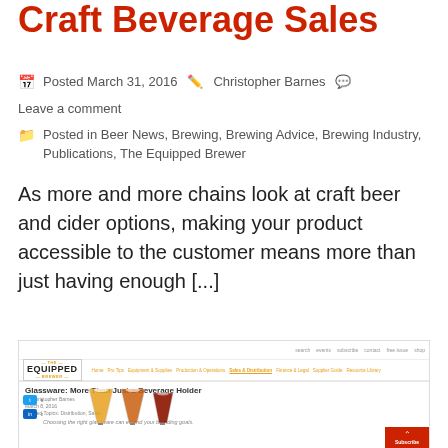Craft Beverage Sales
Posted March 31, 2016 · Christopher Barnes · Leave a comment
Posted in Beer News, Brewing, Brewing Advice, Brewing Industry, Publications, The Equipped Brewer
As more and more chains look at craft beer and cider options, making your product accessible to the customer means more than just having enough [...]
[Figure (screenshot): Screenshot of The Equipped Brewer website showing an article titled 'Glassware: More Than Just a Beverage Holder' by Christopher Barnes, with social share buttons, article metadata, excerpt text, images of beer glasses, and a Subscribe button.]